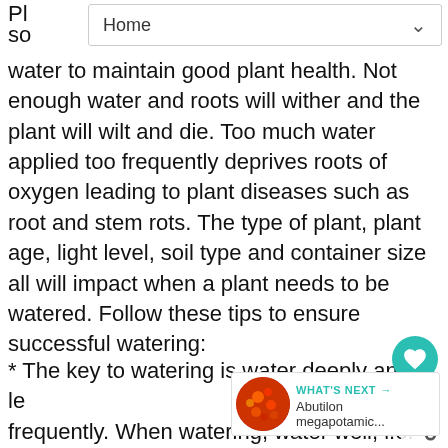Home
water to maintain good plant health. Not enough water and roots will wither and the plant will wilt and die. Too much water applied too frequently deprives roots of oxygen leading to plant diseases such as root and stem rots. The type of plant, plant age, light level, soil type and container size all will impact when a plant needs to be watered. Follow these tips to ensure successful watering:
* The key to watering is water deeply and less frequently. When watering, water well, i.e. provide enough water to thoroughly saturate the root ball. With in-ground plants, thoroughly soaking the soil until water has penetrated to a depth of 6 to 7 inches (1' being